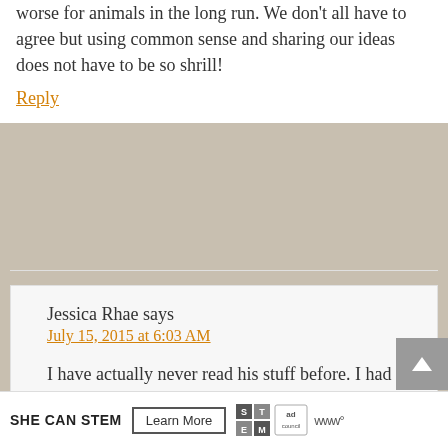worse for animals in the long run. We don't all have to agree but using common sense and sharing our ideas does not have to be so shrill!
Reply
Jessica Rhae says
July 15, 2015 at 6:03 AM
I have actually never read his stuff before. I had no idea who he was. Ha, ha. I kind of
[Figure (screenshot): SHE CAN STEM advertisement banner with Learn More button, STEM logo, and Ad Council logo]